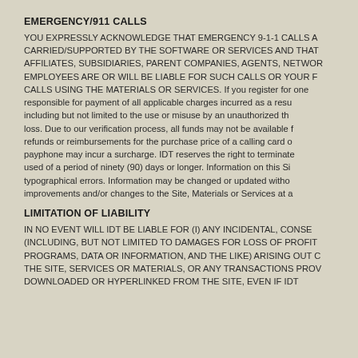EMERGENCY/911 CALLS
YOU EXPRESSLY ACKNOWLEDGE THAT EMERGENCY 9-1-1 CALLS ARE NOT CARRIED/SUPPORTED BY THE SOFTWARE OR SERVICES AND THAT AFFILIATES, SUBSIDIARIES, PARENT COMPANIES, AGENTS, NETWORK EMPLOYEES ARE OR WILL BE LIABLE FOR SUCH CALLS OR YOUR FAILURE TO MAKE CALLS USING THE MATERIALS OR SERVICES. If you register for one responsible for payment of all applicable charges incurred as a result including but not limited to the use or misuse by an unauthorized third party loss. Due to our verification process, all funds may not be available for refunds or reimbursements for the purchase price of a calling card or payphone may incur a surcharge. IDT reserves the right to terminate used of a period of ninety (90) days or longer. Information on this Site typographical errors. Information may be changed or updated without improvements and/or changes to the Site, Materials or Services at a
LIMITATION OF LIABILITY
IN NO EVENT WILL IDT BE LIABLE FOR (I) ANY INCIDENTAL, CONSEQUENTIAL (INCLUDING, BUT NOT LIMITED TO DAMAGES FOR LOSS OF PROFITS, PROGRAMS, DATA OR INFORMATION, AND THE LIKE) ARISING OUT OF THE SITE, SERVICES OR MATERIALS, OR ANY TRANSACTIONS PROVIDED DOWNLOADED OR HYPERLINKED FROM THE SITE, EVEN IF IDT